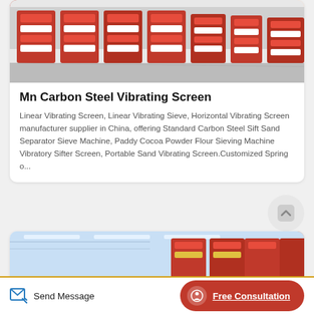[Figure (photo): Rows of red and white industrial vibrating screen machines on a factory floor]
Mn Carbon Steel Vibrating Screen
Linear Vibrating Screen, Linear Vibrating Sieve, Horizontal Vibrating Screen manufacturer supplier in China, offering Standard Carbon Steel Sift Sand Separator Sieve Machine, Paddy Cocoa Powder Flour Sieving Machine Vibratory Sifter Screen, Portable Sand Vibrating Screen.Customized Spring o...
[Figure (photo): Industrial warehouse interior with red vibrating screen machines and white ceiling with fluorescent lights]
Send Message
Free Consultation